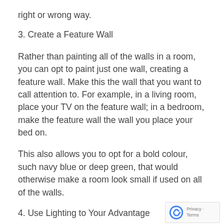right or wrong way.
3. Create a Feature Wall
Rather than painting all of the walls in a room, you can opt to paint just one wall, creating a feature wall. Make this the wall that you want to call attention to. For example, in a living room, place your TV on the feature wall; in a bedroom, make the feature wall the wall you place your bed on.
This also allows you to opt for a bold colour, such navy blue or deep green, that would otherwise make a room look small if used on all of the walls.
4. Use Lighting to Your Advantage
When it comes to lighting, there are so many different options. If you want to add volume to a
[Figure (logo): reCAPTCHA logo with 'Privacy · Terms' text]